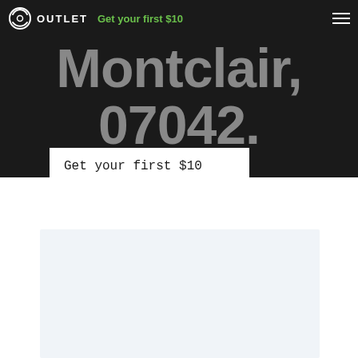OUTLET — Get your first $10
Montclair, 07042.
Get your first $10
[Figure (other): Light blue-gray placeholder card/image area]